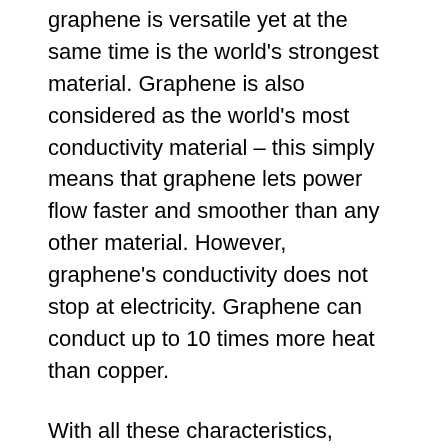graphene is versatile yet at the same time is the world's strongest material. Graphene is also considered as the world's most conductivity material – this simply means that graphene lets power flow faster and smoother than any other material. However, graphene's conductivity does not stop at electricity. Graphene can conduct up to 10 times more heat than copper.
With all these characteristics, graphene has surely piqued the interest of many researchers, scientists. Graphene has the potential to revolutionize industries all over the world. The material can easily dominate the fields of electronics, engineering, aeronautics, medicine, and many more. The range of fields graphene has the potential to influence is more than enough to draw in businesses and researchers.